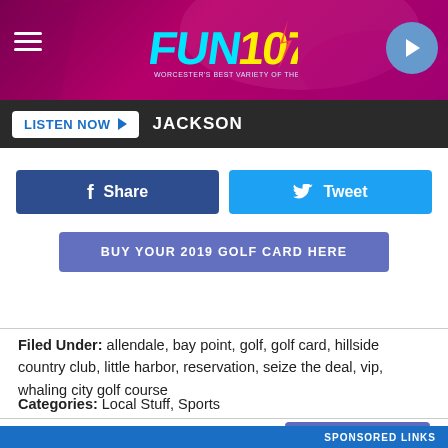[Figure (logo): FUN 107 radio station logo with colorful text on purple/magenta banner header with hamburger menu and play button]
LISTEN NOW ▶  JACKSON
f  Share
Tweet
BUY YOUR 2019 GOLF CARD HERE
Filed Under: allendale, bay point, golf, golf card, hillside country club, little harbor, reservation, seize the deal, vip, whaling city golf course
Categories: Local Stuff, Sports
Comments
LEAVE A COMMENT
SPONSORED LINKS